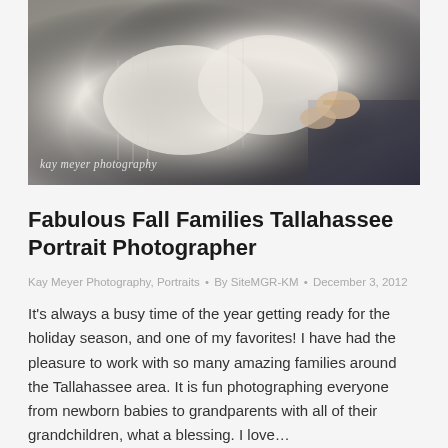[Figure (photo): Two people embracing, wearing cream/white cable-knit sweaters, photographed from chest down showing arms wrapped around each other. Watermark reads 'kay meyer photography' in bottom left.]
Fabulous Fall Families Tallahassee Portrait Photographer
Kay Meyer Photography, Portraits • By SiteMGR-KM • December 3, 2012
It's always a busy time of the year getting ready for the holiday season, and one of my favorites! I have had the pleasure to work with so many amazing families around the Tallahassee area. It is fun photographing everyone from newborn babies to grandparents with all of their grandchildren, what a blessing. I love…